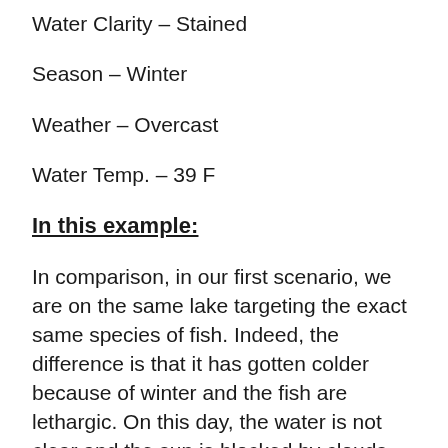Water Clarity – Stained
Season – Winter
Weather – Overcast
Water Temp. – 39 F
In this example:
In comparison, in our first scenario, we are on the same lake targeting the exact same species of fish. Indeed, the difference is that it has gotten colder because of winter and the fish are lethargic. On this day, the water is not clear and the sun is blocked by clouds. The fish will be in relatively shallow water and hesitant to chase anything. The very